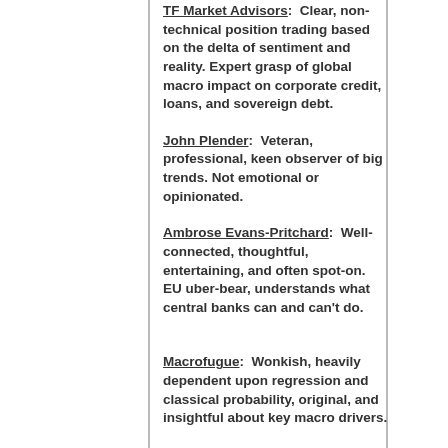TF Market Advisors: Clear, non-technical position trading based on the delta of sentiment and reality. Expert grasp of global macro impact on corporate credit, loans, and sovereign debt.
John Plender: Veteran, professional, keen observer of big trends. Not emotional or opinionated.
Ambrose Evans-Pritchard: Well-connected, thoughtful, entertaining, and often spot-on. EU uber-bear, understands what central banks can and can't do.
Macrofugue: Wonkish, heavily dependent upon regression and classical probability, original, and insightful about key macro drivers.